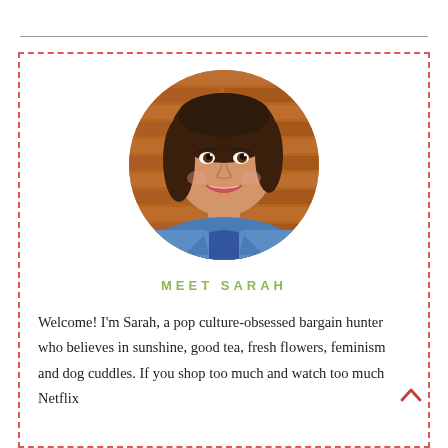[Figure (photo): Circular portrait photo of a young woman with dark hair, smiling, wearing a blue top and denim jacket, with a red brick wall background. Labeled 'Meet Sarah'.]
MEET SARAH
Welcome! I'm Sarah, a pop culture-obsessed bargain hunter who believes in sunshine, good tea, fresh flowers, feminism and dog cuddles. If you shop too much and watch too much Netflix